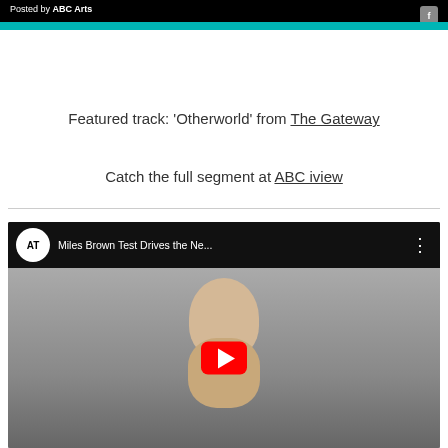[Figure (screenshot): Top portion of a social media post by ABC Arts, showing a dark video thumbnail with teal/cyan bar at bottom and ABC Arts logo icon in top right corner.]
Featured track: 'Otherworld' from The Gateway
Catch the full segment at ABC iview
[Figure (screenshot): YouTube video thumbnail showing a bald man's face with the video title 'Miles Brown Test Drives the Ne...' and AT channel logo. A red YouTube play button is overlaid in the center.]